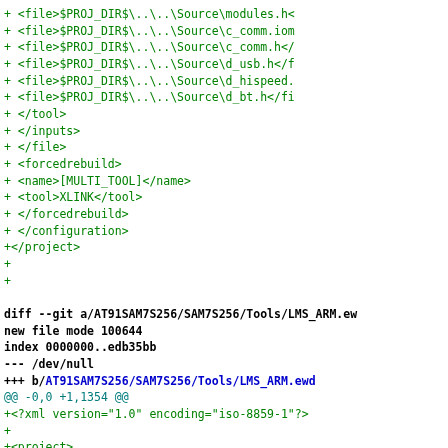Code diff showing XML project file modifications and a new file diff for AT91SAM7S256/SAM7S256/Tools/LMS_ARM.ewd
+           <file>$PROJ_DIR$\..\..\Source\modules.h<
+           <file>$PROJ_DIR$\..\..\Source\c_comm.iom
+           <file>$PROJ_DIR$\..\..\Source\c_comm.h</
+           <file>$PROJ_DIR$\..\..\Source\d_usb.h</f
+           <file>$PROJ_DIR$\..\..\Source\d_hispeed.
+           <file>$PROJ_DIR$\..\..\Source\d_bt.h</fi
+         </tool>
+       </inputs>
+     </file>
+     <forcedrebuild>
+       <name>[MULTI_TOOL]</name>
+       <tool>XLINK</tool>
+     </forcedrebuild>
+   </configuration>
+</project>
+
+
diff --git a/AT91SAM7S256/SAM7S256/Tools/LMS_ARM.ew
new file mode 100644
index 0000000..edb35bb
--- /dev/null
+++ b/AT91SAM7S256/SAM7S256/Tools/LMS_ARM.ewd
@@ -0,0 +1,1354 @@
+<?xml version="1.0" encoding="iso-8859-1"?>
+
+<project>
+   <fileVersion>1</fileVersion>
+   <configuration>
+     <name>RAM_Debug</name>